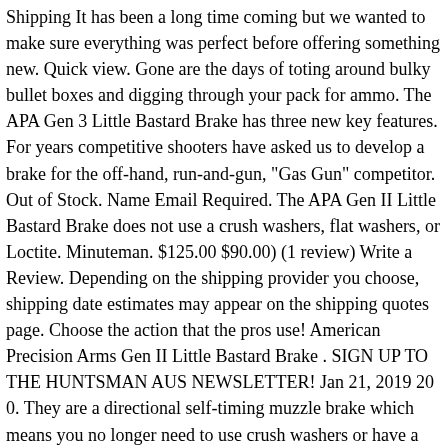Shipping It has been a long time coming but we wanted to make sure everything was perfect before offering something new. Quick view. Gone are the days of toting around bulky bullet boxes and digging through your pack for ammo. The APA Gen 3 Little Bastard Brake has three new key features. For years competitive shooters have asked us to develop a brake for the off-hand, run-and-gun, "Gas Gun" competitor. Out of Stock. Name Email Required. The APA Gen II Little Bastard Brake does not use a crush washers, flat washers, or Loctite. Minuteman. $125.00 $90.00) (1 review) Write a Review. Depending on the shipping provider you choose, shipping date estimates may appear on the shipping quotes page. Choose the action that the pros use! American Precision Arms Gen II Little Bastard Brake . SIGN UP TO THE HUNTSMAN AUS NEWSLETTER! Jan 21, 2019 20 0. They are a directional self-timing muzzle brake which means you no longer need to use crush washers or have a gunsmith time your muzzle brake. Over the last 11 years the APA Gen 2 Little